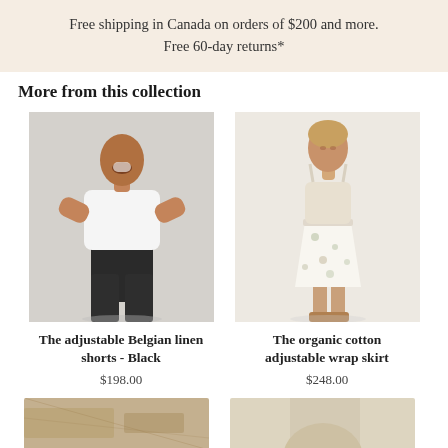Free shipping in Canada on orders of $200 and more. Free 60-day returns*
More from this collection
[Figure (photo): Woman wearing white t-shirt and black linen shorts, laughing, hands on hips, light gray background]
[Figure (photo): Woman wearing cream tank top and white floral wrap skirt with sandals, light background]
The adjustable Belgian linen shorts - Black
$198.00
The organic cotton adjustable wrap skirt
$248.00
[Figure (photo): Partial product image bottom left, cropped]
[Figure (photo): Partial product image bottom right, cropped]